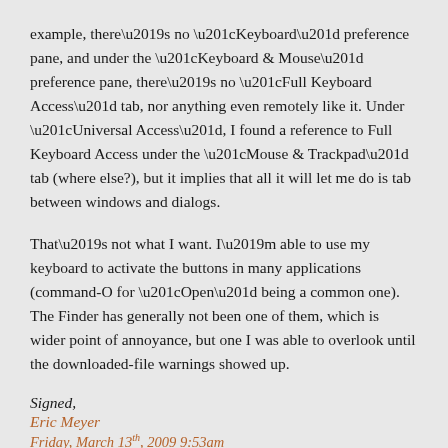example, there’s no “Keyboard” preference pane, and under the “Keyboard & Mouse” preference pane, there’s no “Full Keyboard Access” tab, nor anything even remotely like it. Under “Universal Access”, I found a reference to Full Keyboard Access under the “Mouse & Trackpad” tab (where else?), but it implies that all it will let me do is tab between windows and dialogs.
That’s not what I want. I’m able to use my keyboard to activate the buttons in many applications (command-O for “Open” being a common one). The Finder has generally not been one of them, which is wider point of annoyance, but one I was able to overlook until the downloaded-file warnings showed up.
Signed,
Eric Meyer
Friday, March 13th, 2009 9:53am